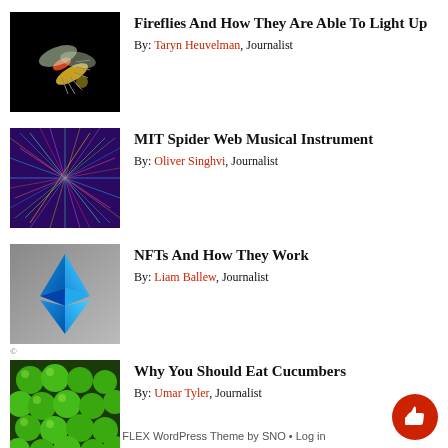Fireflies And How They Are Able To Light Up — By: Taryn Heuvelman, Journalist
MIT Spider Web Musical Instrument — By: Oliver Singhvi, Journalist
NFTs And How They Work — By: Liam Ballew, Journalist
Why You Should Eat Cucumbers — By: Umar Tyler, Journalist
FLEX WordPress Theme by SNO • Log in